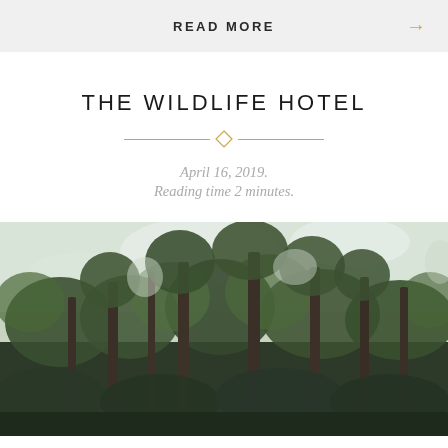READ MORE →
THE WILDLIFE HOTEL
April 16, 2019.
Reading time 2 minutes.
[Figure (photo): Forest scene with tall pine trees viewed from below, green foliage against a bright sky]